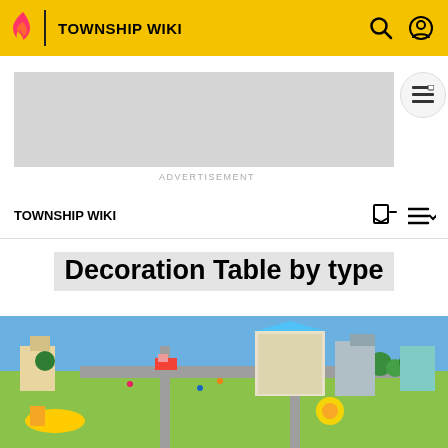TOWNSHIP WIKI
[Figure (other): Advertisement placeholder rectangle (gray)]
ADVERTISEMENT
TOWNSHIP WIKI
Decoration Table by type
[Figure (screenshot): Township game screenshot showing isometric city view with buildings, roads, trees, and characters]